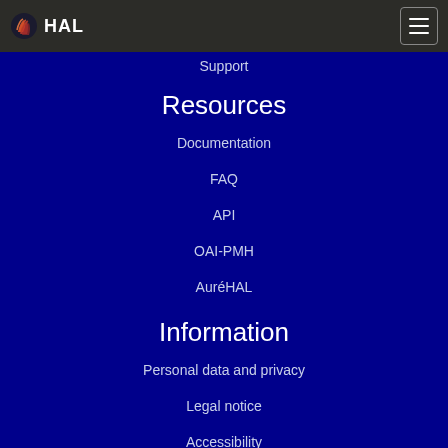HAL
Support
Resources
Documentation
FAQ
API
OAI-PMH
AuréHAL
Information
Personal data and privacy
Legal notice
Accessibility